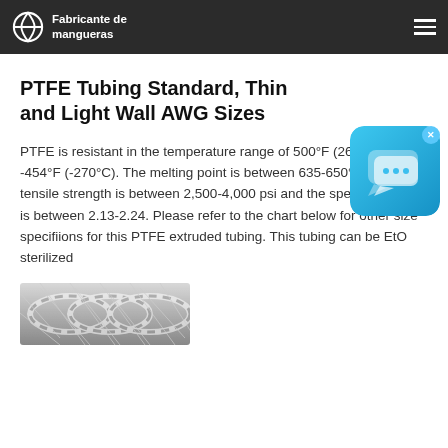Fabricante de mangueras
PTFE Tubing Standard, Thin and Light Wall AWG Sizes
PTFE is resistant in the temperature range of 500°F (260°C) to -454°F (-270°C). The melting point is between 635-650°F, the tensile strength is between 2,500-4,000 psi and the specific gravity is between 2.13-2.24. Please refer to the chart below for other size specifiions for this PTFE extruded tubing. This tubing can be EtO sterilized
[Figure (photo): Coiled PTFE tubing — braided/flexible hose image]